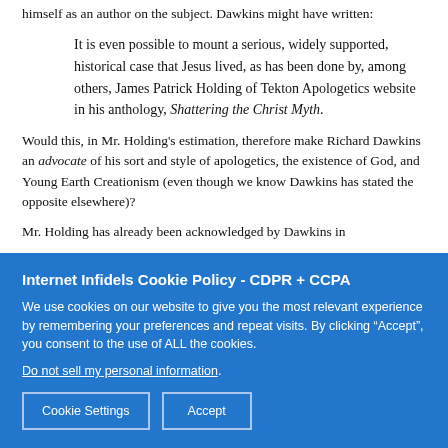himself as an author on the subject. Dawkins might have written:
It is even possible to mount a serious, widely supported, historical case that Jesus lived, as has been done by, among others, James Patrick Holding of Tekton Apologetics website in his anthology, Shattering the Christ Myth.
Would this, in Mr. Holding's estimation, therefore make Richard Dawkins an advocate of his sort and style of apologetics, the existence of God, and Young Earth Creationism (even though we know Dawkins has stated the opposite elsewhere)?
Mr. Holding has already been acknowledged by Dawkins in...
Internet Infidels Cookie Policy - CDPR + CCPA
We use cookies on our website to give you the most relevant experience by remembering your preferences and repeat visits. By clicking “Accept”, you consent to the use of ALL the cookies.
Do not sell my personal information.
Cookie Settings
Accept